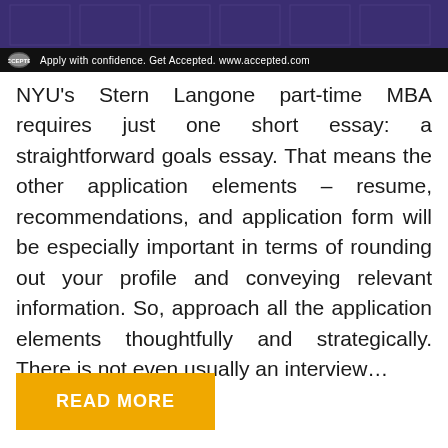[Figure (photo): Banner image showing a building with purple overlay tint, with a black bar at the bottom containing the Accepted logo and tagline: Apply with confidence. Get Accepted. www.accepted.com]
NYU's Stern Langone part-time MBA requires just one short essay: a straightforward goals essay. That means the other application elements – resume, recommendations, and application form will be especially important in terms of rounding out your profile and conveying relevant information. So, approach all the application elements thoughtfully and strategically. There is not even usually an interview…
READ MORE